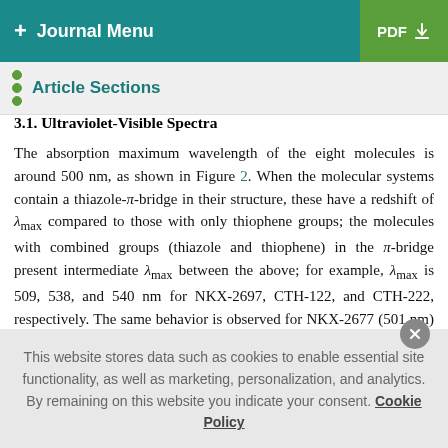+ Journal Menu | PDF
Article Sections
3.1. Ultraviolet-Visible Spectra
The absorption maximum wavelength of the eight molecules is around 500 nm, as shown in Figure 2. When the molecular systems contain a thiazole-π-bridge in their structure, these have a redshift of λmax compared to those with only thiophene groups; the molecules with combined groups (thiazole and thiophene) in the π-bridge present intermediate λmax between the above; for example, λmax is 509, 538, and 540 nm for NKX-2697, CTH-122, and CTH-222, respectively. The same behavior is observed for NKX-2677 (501 nm) and CTH-22 (512 nm); the
This website stores data such as cookies to enable essential site functionality, as well as marketing, personalization, and analytics. By remaining on this website you indicate your consent. Cookie Policy